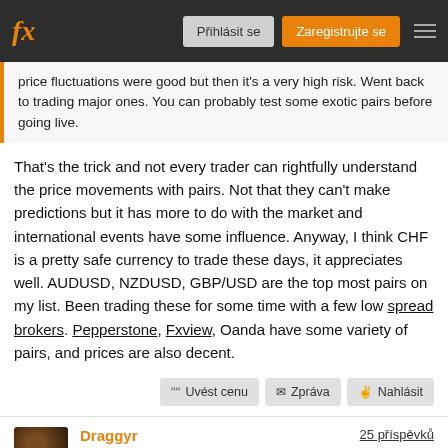fx — Přihlásit se | Zaregistrujte se
price fluctuations were good but then it's a very high risk. Went back to trading major ones. You can probably test some exotic pairs before going live.
That's the trick and not every trader can rightfully understand the price movements with pairs. Not that they can't make predictions but it has more to do with the market and international events have some influence. Anyway, I think CHF is a pretty safe currency to trade these days, it appreciates well. AUDUSD, NZDUSD, GBP/USD are the top most pairs on my list. Been trading these for some time with a few low spread brokers. Pepperstone, Fxview, Oanda have some variety of pairs, and prices are also decent.
Draggyr — Jan 18 2021 at 16:04 — 25 příspěvků
If you don't like it or aren't interested, then choose something else. There's no room for criticism, but it's definitely worth pursuing.